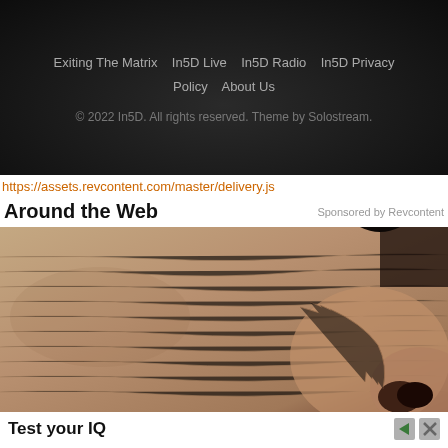Exiting The Matrix   In5D Live   In5D Radio   In5D Privacy Policy   About Us
© 2022 In5D. All rights reserved. Theme by Solostream.
https://assets.revcontent.com/master/delivery.js
Around the Web
Sponsored by Revcontent
[Figure (photo): Close-up photo of elderly person's nose and surrounding skin showing wrinkles and texture]
Test your IQ
Open
Ad